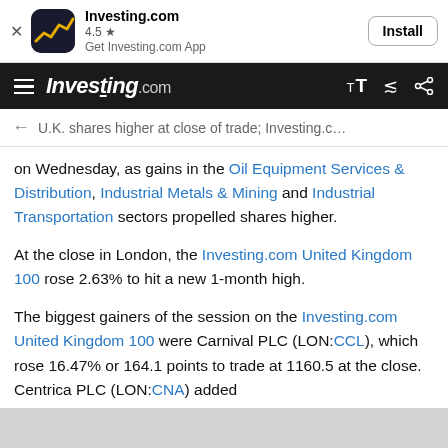[Figure (screenshot): Investing.com app install banner with logo icon, 4.5 star rating, and Install button]
Investing.com | 4.5 ★ | Get Investing.com App | Install
Investing.com [hamburger menu] [font size toggle] [share icon]
← U.K. shares higher at close of trade; Investing.c…
on Wednesday, as gains in the Oil Equipment Services & Distribution, Industrial Metals & Mining and Industrial Transportation sectors propelled shares higher.
At the close in London, the Investing.com United Kingdom 100 rose 2.63% to hit a new 1-month high.
The biggest gainers of the session on the Investing.com United Kingdom 100 were Carnival PLC (LON:CCL), which rose 16.47% or 164.1 points to trade at 1160.5 at the close. Centrica PLC (LON:CNA) added